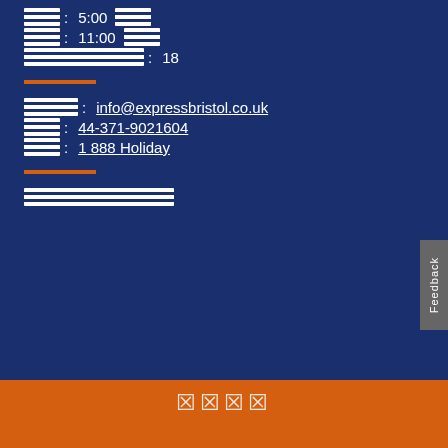[redacted]: 5:00 [redacted]
[redacted]: 11:00 [redacted]
[redacted]: 18
[redacted]: info@expressbristol.co.uk
[redacted]: 44-371-9021604
[redacted]: 1 888 Holiday
[redacted block]
[redacted characters]